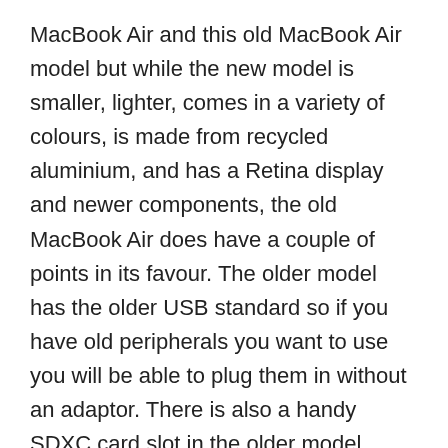MacBook Air and this old MacBook Air model but while the new model is smaller, lighter, comes in a variety of colours, is made from recycled aluminium, and has a Retina display and newer components, the old MacBook Air does have a couple of points in its favour. The older model has the older USB standard so if you have old peripherals you want to use you will be able to plug them in without an adaptor. There is also a handy SDXC card slot in the older model, which will likely be handy for photographers. And there is the old MacBook Air keyboard – which we have to admit we have always loved using.
Read on to find out what the older MacBook Air offers so you can decide if the cons outweigh the pros.